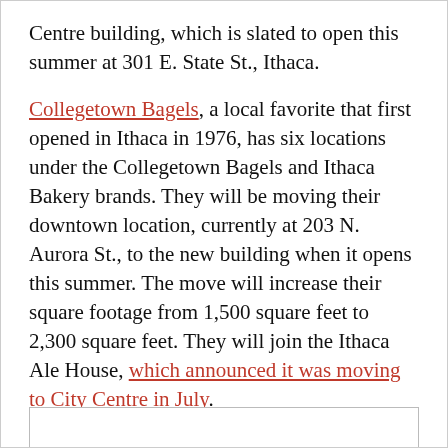Centre building, which is slated to open this summer at 301 E. State St., Ithaca.
Collegetown Bagels, a local favorite that first opened in Ithaca in 1976, has six locations under the Collegetown Bagels and Ithaca Bakery brands. They will be moving their downtown location, currently at 203 N. Aurora St., to the new building when it opens this summer. The move will increase their square footage from 1,500 square feet to 2,300 square feet. They will join the Ithaca Ale House, which announced it was moving to City Centre in July.